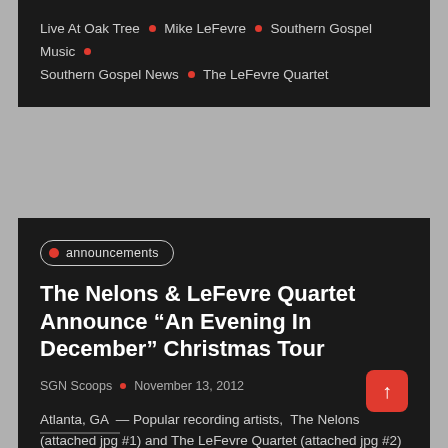Live At Oak Tree • Mike LeFevre • Southern Gospel Music • Southern Gospel News • The LeFevre Quartet
announcements
The Nelons & LeFevre Quartet Announce “An Evening In December” Christmas Tour
SGN Scoops • November 13, 2012
Atlanta, GA – Popular recording artists, The Nelons (attached jpg #1) and The LeFevre Quartet (attached jpg #2) will join forces this Holiday Season to present An Evening In December… Christmas Tour. ...
READ MORE